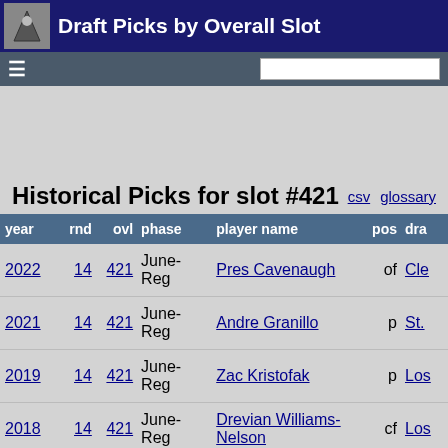Draft Picks by Overall Slot
Historical Picks for slot #421
| year | rnd | ovl | phase | player name | pos | dra |
| --- | --- | --- | --- | --- | --- | --- |
| 2022 | 14 | 421 | June-Reg | Pres Cavenaugh | of | Cle |
| 2021 | 14 | 421 | June-Reg | Andre Granillo | p | St. |
| 2019 | 14 | 421 | June-Reg | Zac Kristofak | p | Los |
| 2018 | 14 | 421 | June-Reg | Drevian Williams-Nelson | cf | Los |
| 2017 | 14 | 421 | June-Reg | Carlos Diaz | cf | Hou |
| 2016 | 14 | 421 | June-Reg | Ruben Garcia | p | Bal |
| 2015 | 14 | 421 | June-Reg | Tyrone Perry | 1b | Mil |